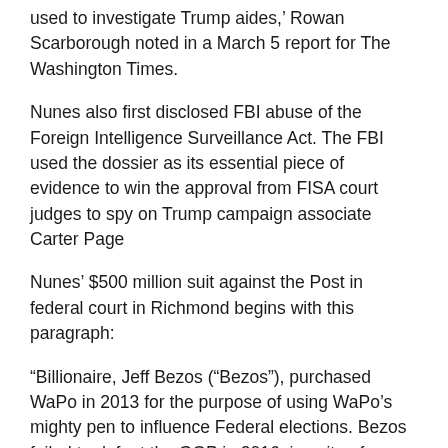used to investigate Trump aides,' Rowan Scarborough noted in a March 5 report for The Washington Times.
Nunes also first disclosed FBI abuse of the Foreign Intelligence Surveillance Act. The FBI used the dossier as its essential piece of evidence to win the approval from FISA court judges to spy on Trump campaign associate Carter Page
Nunes' $500 million suit against the Post in federal court in Richmond begins with this paragraph:
“Billionaire, Jeff Bezos (“Bezos”), purchased WaPo in 2013 for the purpose of using WaPo’s mighty pen to influence Federal elections. Bezos failed to defeat the GOP in 2016, in spite of WaPo’s notoriously libelous reporting. Bezos’ WaPo heavily promoted the Russian ‘collusion’ hoax between 2017 and 2019, in spite of the fact that there was no evidence that any member of the Trump campaign colluded with any ‘Russian’ to